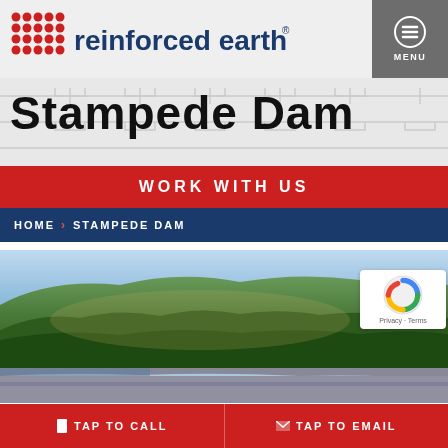Reinforced Earth® — MENU
Stampede Dam
WORK WITH US
HOME › STAMPEDE DAM
[Figure (photo): Aerial photo of Stampede Dam showing forested hillside, mountain ridge, and dam structure with reservoir]
TAP TO CALL   TAP TO EMAIL